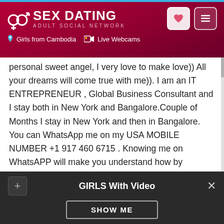SEX DATING ADULT SOCIAL NETWORK | Girls from Cambodia | Live Webcams
personal sweet angel, I very love to make love)) All your dreams will come true with me)). I am an IT ENTREPRENEUR , Global Business Consultant and I stay both in New York and Bangalore.Couple of Months I stay in New York and then in Bangalore. You can WhatsApp me on my USA MOBILE NUMBER +1 917 460 6715 . Knowing me on WhatsAPP will make you understand how by meeting me you can be benefited in many Ways both Financially and also in Traveling .Lets know each other which can benefit you in many ways now and in Future. I am interested in Friendship which can lead to Dating if you want and later Traveling and Companionship.. Khmer girl body lotion in Hotel 9 min Lostvirgin - 2. I get an orgasm when boys lick my wet
GIRLS With Video
SHOW ME